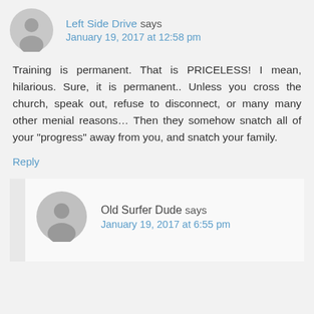Left Side Drive says
January 19, 2017 at 12:58 pm
Training is permanent. That is PRICELESS! I mean, hilarious. Sure, it is permanent.. Unless you cross the church, speak out, refuse to disconnect, or many many other menial reasons... Then they somehow snatch all of your “progress” away from you, and snatch your family.
Reply
Old Surfer Dude says
January 19, 2017 at 6:55 pm